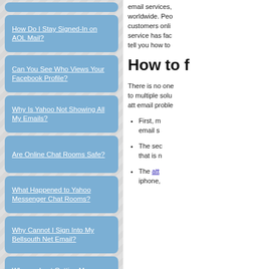How Do I Stay Signed-In on AOL Mail?
Can You See Who Views Your Facebook Profile?
Why Is Yahoo Not Showing All My Emails?
Are Online Chat Rooms Safe?
What Happened to Yahoo Messenger Chat Rooms?
Why Cannot I Sign Into My Bellsouth Net Email?
Why am I not Getting My Comcast Email?
How Do I Fix Error 554?
How do I Find a Unique Business Name?
email services, worldwide. Peo customers onli service has fac tell you how to
How to f
There is no one to multiple solu att email proble
First, m email s
The sec that is n
The att iphone,